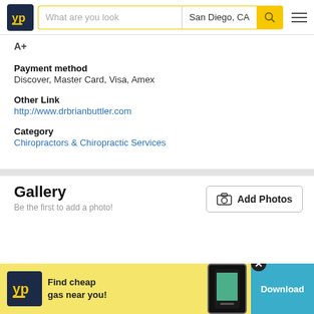YP | What are you looking for | San Diego, CA
A+
Payment method
Discover, Master Card, Visa, Amex
Other Link
http://www.drbrianbuttler.com
Category
Chiropractors & Chiropractic Services
Gallery
Be the first to add a photo!
[Figure (screenshot): YP app advertisement banner: Find cheap gas near you! Download button]